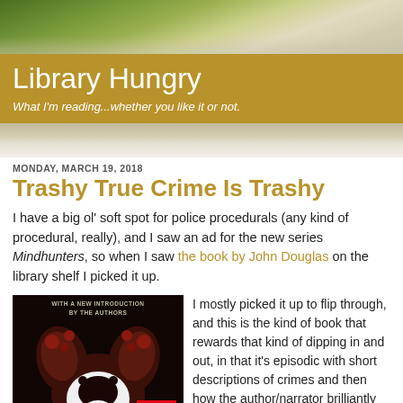[Figure (photo): Blurred photo header showing a person reading a book outdoors with greenery in background]
Library Hungry
What I'm reading...whether you like it or not.
MONDAY, MARCH 19, 2018
Trashy True Crime Is Trashy
I have a big ol' soft spot for police procedurals (any kind of procedural, really), and I saw an ad for the new series Mindhunters, so when I saw the book by John Douglas on the library shelf I picked it up.
[Figure (photo): Book cover of Mindhunters with dark dog silhouette, text 'WITH A NEW INTRODUCTION BY THE AUTHORS' and Netflix badge]
I mostly picked it up to flip through, and this is the kind of book that rewards that kind of dipping in and out, in that it's episodic with short descriptions of crimes and then how the author/narrator brilliantly